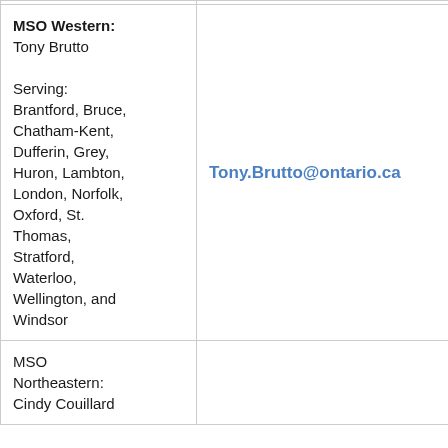| MSO Contact | Email |
| --- | --- |
| MSO Western: Tony Brutto

Serving: Brantford, Bruce, Chatham-Kent, Dufferin, Grey, Huron, Lambton, London, Norfolk, Oxford, St. Thomas, Stratford, Waterloo, Wellington, and Windsor | Tony.Brutto@ontario.ca |
| MSO Northeastern: Cindy Couillard |  |